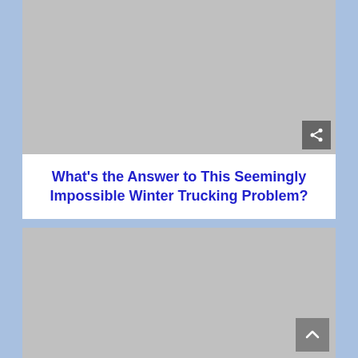[Figure (photo): Top image placeholder — gray rectangle representing a photo]
What's the Answer to This Seemingly Impossible Winter Trucking Problem?
[Figure (photo): Bottom image placeholder — gray rectangle representing a photo]